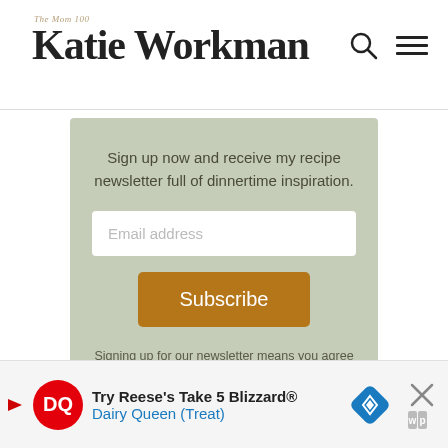The Mom 100 Katie Workman
Sign up now and receive my recipe newsletter full of dinnertime inspiration.
[Figure (screenshot): Email address input field with white background and rounded corners]
[Figure (screenshot): Subscribe button in brown/orange color]
Signing up for our newsletter means you agree to our Privacy Policy and Terms Of Use.
[Figure (screenshot): Dairy Queen advertisement banner: Try Reese's Take 5 Blizzard® Dairy Queen (Treat)]